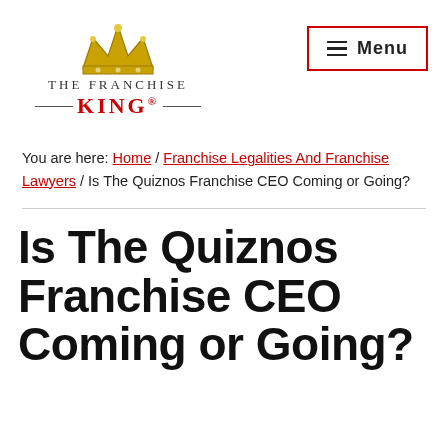[Figure (logo): The Franchise King logo with gold crown SVG, 'THE FRANCHISE' text in serif, and 'KING®' in red with decorative lines]
Menu
You are here: Home / Franchise Legalities And Franchise Lawyers / Is The Quiznos Franchise CEO Coming or Going?
Is The Quiznos Franchise CEO Coming or Going?